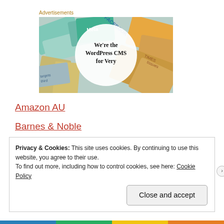Advertisements
[Figure (screenshot): Advertisement banner showing colorful book/magazine covers in the background with a white circle overlay containing bold text: 'We're the WordPress CMS for Very']
Amazon AU
Barnes & Noble
Privacy & Cookies: This site uses cookies. By continuing to use this website, you agree to their use.
To find out more, including how to control cookies, see here: Cookie Policy
Close and accept